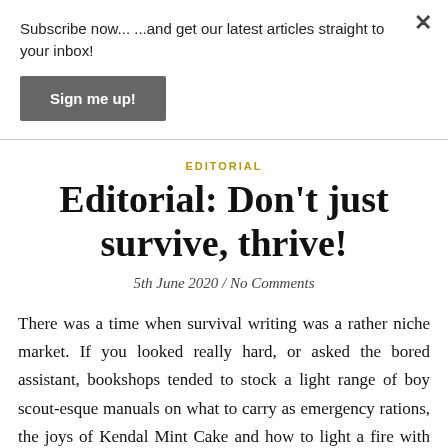Subscribe now... ...and get our latest articles straight to your inbox!
Sign me up!
EDITORIAL
Editorial: Don't just survive, thrive!
5th June 2020 / No Comments
There was a time when survival writing was a rather niche market. If you looked really hard, or asked the bored assistant, bookshops tended to stock a light range of boy scout-esque manuals on what to carry as emergency rations, the joys of Kendal Mint Cake and how to light a fire with sticks.